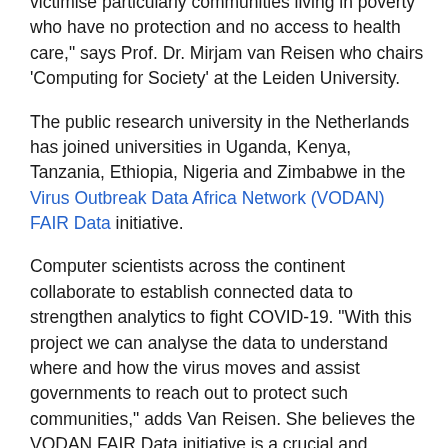victimise particularly communities living in poverty who have no protection and no access to health care," says Prof. Dr. Mirjam van Reisen who chairs 'Computing for Society' at the Leiden University.
The public research university in the Netherlands has joined universities in Uganda, Kenya, Tanzania, Ethiopia, Nigeria and Zimbabwe in the Virus Outbreak Data Africa Network (VODAN) FAIR Data initiative.
Computer scientists across the continent collaborate to establish connected data to strengthen analytics to fight COVID-19. "With this project we can analyse the data to understand where and how the virus moves and assist governments to reach out to protect such communities," adds Van Reisen. She believes the VODAN FAIR Data initiative is a crucial and necessary condition for other data initiatives.
FAIR stands for human and machine-readable digital data objects that are Findable, Accessible, Interoperable and